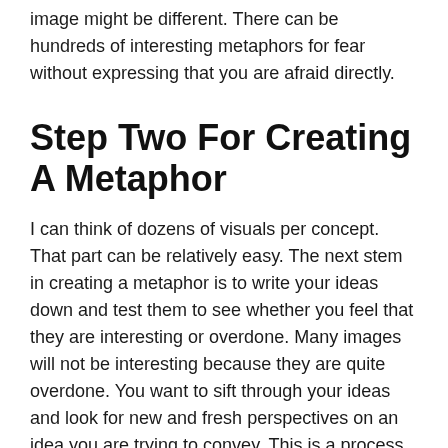image might be different. There can be hundreds of interesting metaphors for fear without expressing that you are afraid directly.
Step Two For Creating A Metaphor
I can think of dozens of visuals per concept. That part can be relatively easy. The next stem in creating a metaphor is to write your ideas down and test them to see whether you feel that they are interesting or overdone. Many images will not be interesting because they are quite overdone. You want to sift through your ideas and look for new and fresh perspectives on an idea you are trying to convey. This is a process of elimination. After taking out the uninteresting ones...